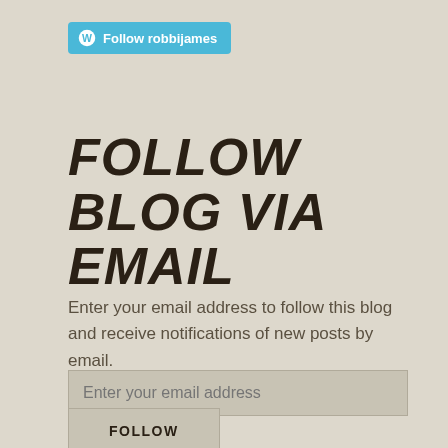[Figure (logo): WordPress follow button with W logo icon and text 'Follow robbijames' on a teal/cyan background]
FOLLOW BLOG VIA EMAIL
Enter your email address to follow this blog and receive notifications of new posts by email.
[Figure (screenshot): Email address input field with placeholder text 'Enter your email address']
[Figure (screenshot): FOLLOW button]